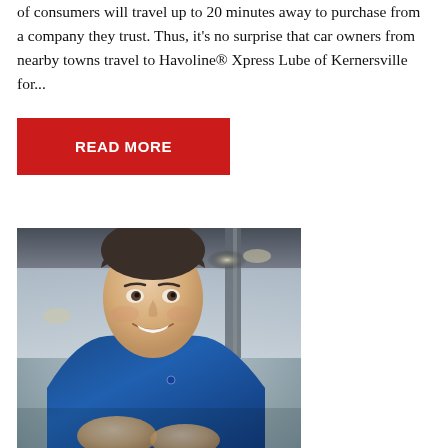of consumers will travel up to 20 minutes away to purchase from a company they trust. Thus, it's no surprise that car owners from nearby towns travel to Havoline® Xpress Lube of Kernersville for...
[Figure (other): Red rectangular button with white bold text reading READ MORE]
[Figure (photo): A smiling young man in a blue mechanic's uniform, photographed in what appears to be a garage or automotive service environment. He is gesturing with his hands and looking upward slightly.]